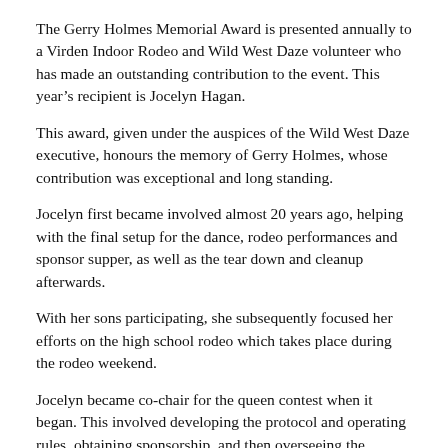The Gerry Holmes Memorial Award is presented annually to a Virden Indoor Rodeo and Wild West Daze volunteer who has made an outstanding contribution to the event. This year’s recipient is Jocelyn Hagan.
This award, given under the auspices of the Wild West Daze executive, honours the memory of Gerry Holmes, whose contribution was exceptional and long standing.
Jocelyn first became involved almost 20 years ago, helping with the final setup for the dance, rodeo performances and sponsor supper, as well as the tear down and cleanup afterwards.
With her sons participating, she subsequently focused her efforts on the high school rodeo which takes place during the rodeo weekend.
Jocelyn became co-chair for the queen contest when it began. This involved developing the protocol and operating rules, obtaining sponsorship, and then overseeing the pageant itself.
In 2004, Jocelyn was elected president of the Virden Rodeo and Wild West Daze, a position she held for 10 years, stepping down at the completion of last year’s rodeo. She presided over the move into Tundra Oil & Gas